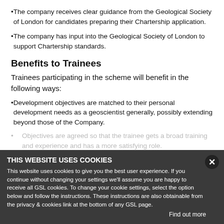The company receives clear guidance from the Geological Society of London for candidates preparing their Chartership application.
The company has input into the Geological Society of London to support Chartership standards.
Benefits to Trainees
Trainees participating in the scheme will benefit in the following ways:
Development objectives are matched to their personal development needs as a geoscientist generally, possibly extending beyond those of the Company.
Objectives are agreed so that the trainee gets a broad training and experience and has a more satisfying role.
THIS WEBSITE USES COOKIES
This website uses cookies to give you the best user experience. If you continue without changing your settings we'll assume you are happy to receive all GSL cookies. To change your cookie settings, select the option below and follow the instructions. These instructions are also obtainable from the privacy & cookies link at the bottom of any GSL page.
Find out more